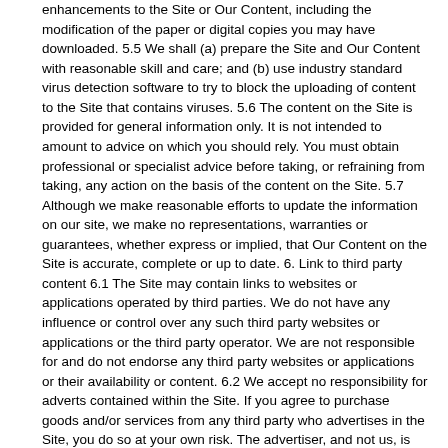enhancements to the Site or Our Content, including the modification of the paper or digital copies you may have downloaded. 5.5 We shall (a) prepare the Site and Our Content with reasonable skill and care; and (b) use industry standard virus detection software to try to block the uploading of content to the Site that contains viruses. 5.6 The content on the Site is provided for general information only. It is not intended to amount to advice on which you should rely. You must obtain professional or specialist advice before taking, or refraining from taking, any action on the basis of the content on the Site. 5.7 Although we make reasonable efforts to update the information on our site, we make no representations, warranties or guarantees, whether express or implied, that Our Content on the Site is accurate, complete or up to date. 6. Link to third party content 6.1 The Site may contain links to websites or applications operated by third parties. We do not have any influence or control over any such third party websites or applications or the third party operator. We are not responsible for and do not endorse any third party websites or applications or their availability or content. 6.2 We accept no responsibility for adverts contained within the Site. If you agree to purchase goods and/or services from any third party who advertises in the Site, you do so at your own risk. The advertiser, and not us, is responsible for such goods and/or services and if you have any questions or complaints in relation to them, you should contact the advertiser. 7. Site Management 7.1 We reserve the right at our sole discretion, to (1) monitor the Site for breaches of these Terms and Conditions; (2) take appropriate action...